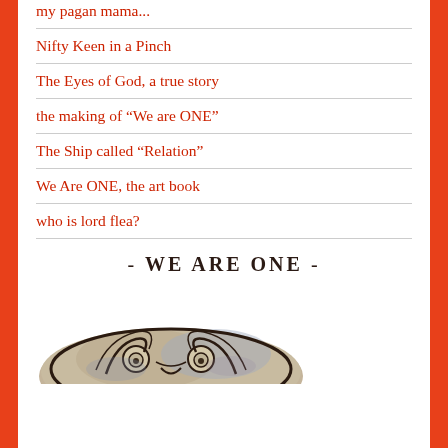my pagan mama...
Nifty Keen in a Pinch
The Eyes of God, a true story
the making of “We are ONE”
The Ship called “Relation”
We Are ONE, the art book
who is lord flea?
- WE ARE ONE -
[Figure (photo): A circular ceramic or pottery plate with an abstract swirling face/figure design in dark lines on a muted beige, blue and brown background, photographed from above.]